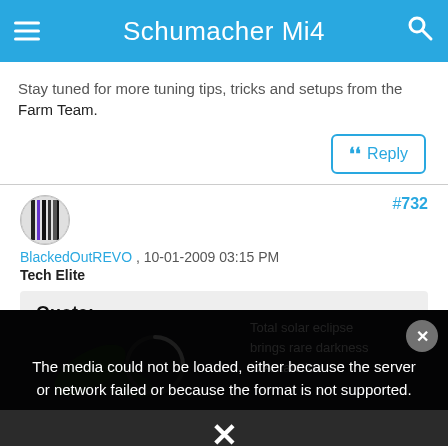Schumacher Mi4
Stay tuned for more tuning tips, tricks and setups from the Farm Team.
Reply
#732
BlackedOutREVO , 10-01-2009 03:15 PM
Tech Elite
Quote:
Originally Posted by The Bear
in retaliation to the time spent worrying about the color of
[Figure (screenshot): Media error overlay on dark video background with eclipse text. Error message: 'The media could not be loaded, either because the server or network failed or because the format is not supported.' Eclipse text visible: 'Total solar eclipse brings rare darkness to Antarctica']
The media could not be loaded, either because the server or network failed or because the format is not supported.